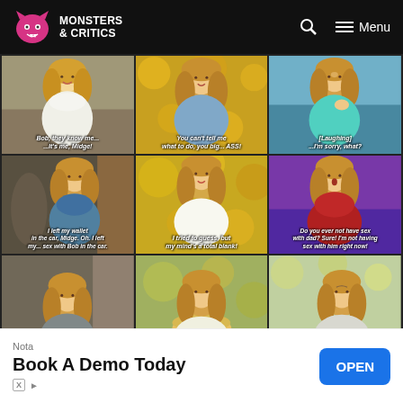Monsters & Critics — Search — Menu
[Figure (photo): 3x3 grid of TV show screenshots featuring a blonde woman in various scenes with captions: 'Bob, they know me... It's me, Midge!', 'You can't tell me what to do, you big... ASS!', '[Laughing] ...I'm sorry, what?', 'I left my wallet in the car, Midge. Oh. I left my... sex with Bob in the car.', 'I tried to guess, but my mind's a total blank!', 'Do you ever not have sex with dad? Sure! I'm not having sex with him right now!', and three more partial images in the bottom row.]
Nota
Book A Demo Today
OPEN